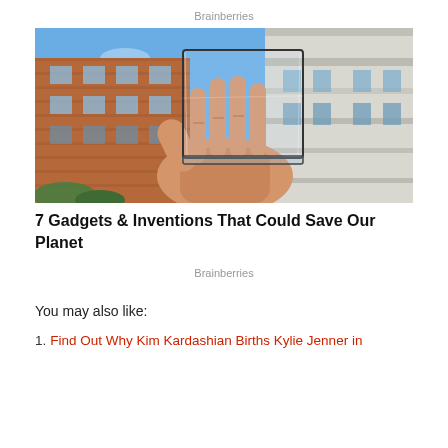Brainberries
[Figure (photo): Person holding up a transparent solar panel square against a blue sky, with brick and white building facades in the background]
7 Gadgets & Inventions That Could Save Our Planet
Brainberries
You may also like:
Find Out Why Kim Kardashian Births Kylie Jenner in